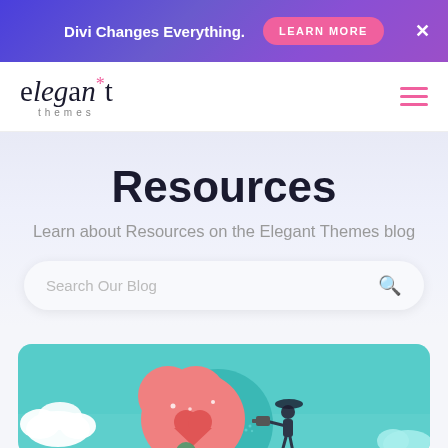Divi Changes Everything. LEARN MORE
[Figure (logo): Elegant Themes logo with asterisk and italic text]
Resources
Learn about Resources on the Elegant Themes blog
Search Our Blog
[Figure (illustration): Colorful teal illustration showing a person watering a large heart with clouds in background]